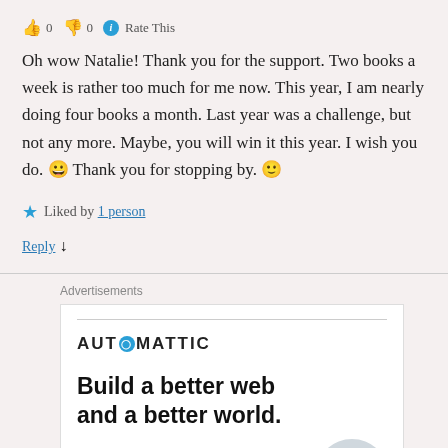👍 0 👎 0 ℹ Rate This
Oh wow Natalie! Thank you for the support. Two books a week is rather too much for me now. This year, I am nearly doing four books a month. Last year was a challenge, but not any more. Maybe, you will win it this year. I wish you do. 😀 Thank you for stopping by. 🙂
★ Liked by 1 person
Reply ↓
Advertisements
[Figure (logo): Automattic logo with teal circle replacing the O]
Build a better web and a better world.